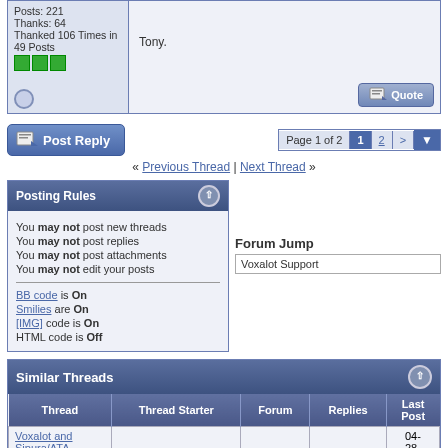Posts: 221
Thanks: 64
Thanked 106 Times in 49 Posts
Tony.
Post Reply  Page 1 of 2  1  2  >
« Previous Thread | Next Thread »
Posting Rules
You may not post new threads
You may not post replies
You may not post attachments
You may not edit your posts
BB code is On
Smilies are On
[IMG] code is On
HTML code is Off
Forum Jump
Voxalot Support
Similar Threads
| Thread | Thread Starter | Forum | Replies | Last Post |
| --- | --- | --- | --- | --- |
| Voxalot and Sipura/ATA |  |  |  | 04-28- |